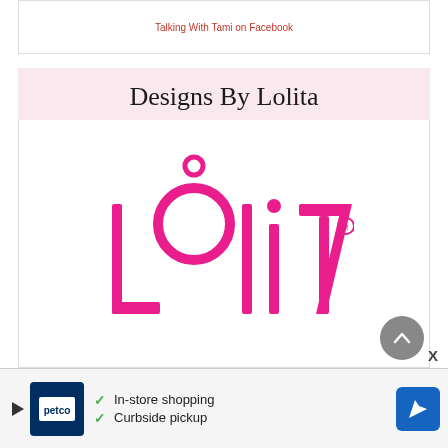Talking With Tami on Facebook
Designs By Lolita
[Figure (logo): Lolita brand logo in hot pink with stylized lettering and circular O design with dot above]
In-store shopping
Curbside pickup